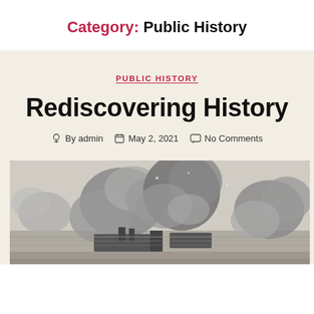Category: Public History
PUBLIC HISTORY
Rediscovering History
By admin  May 2, 2021  No Comments
[Figure (illustration): Black and white historical engraving of a naval or industrial battle scene with large billowing smoke clouds and ships or machinery]